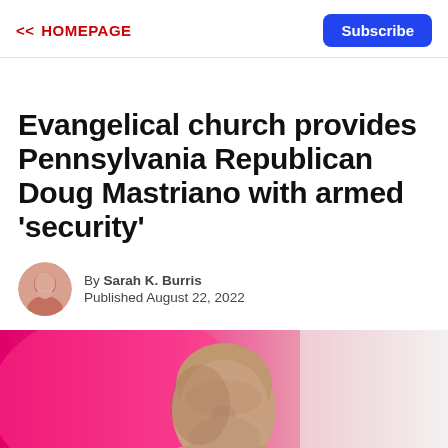<< HOMEPAGE
Subscribe
Evangelical church provides Pennsylvania Republican Doug Mastriano with armed 'security'
By Sarah K. Burris
Published August 22, 2022
[Figure (photo): Bald man photographed against a pink/magenta blurred background, visible from shoulders up, looking slightly to the side.]